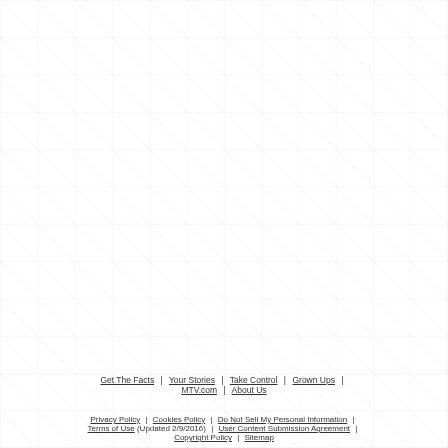[Figure (other): Grid background pattern with diagonal lines crossing a light square grid, covering the top portion of the page]
Get The Facts | Your Stories | Take Control | Grown Ups | MTV.com | About Us
Privacy Policy | Cookies Policy | Do Not Sell My Personal Information | Terms of Use (Updated 2/9/2016) | User Content Submission Agreement | Copyright Policy | Sitemap